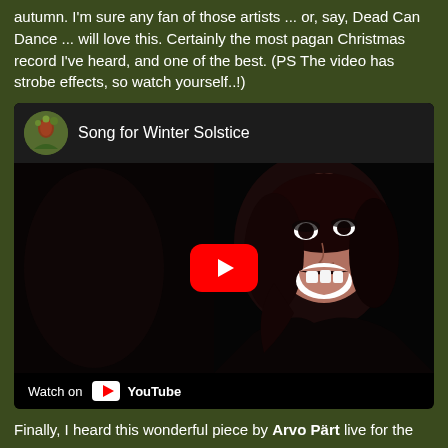autumn. I'm sure any fan of those artists ... or, say, Dead Can Dance ... will love this. Certainly the most pagan Christmas record I've heard, and one of the best. (PS The video has strobe effects, so watch yourself..!)
[Figure (screenshot): Embedded YouTube video thumbnail showing 'Song for Winter Solstice' with a woman singing dramatically against a dark background, with a red YouTube play button overlay. Header shows channel avatar (woman with floral crown) and video title. Footer shows 'Watch on YouTube' branding.]
Finally, I heard this wonderful piece by Arvo Pärt live for the